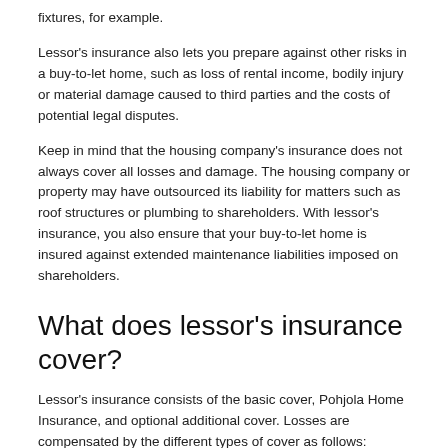fixtures, for example.
Lessor's insurance also lets you prepare against other risks in a buy-to-let home, such as loss of rental income, bodily injury or material damage caused to third parties and the costs of potential legal disputes.
Keep in mind that the housing company's insurance does not always cover all losses and damage. The housing company or property may have outsourced its liability for matters such as roof structures or plumbing to shareholders. With lessor's insurance, you also ensure that your buy-to-let home is insured against extended maintenance liabilities imposed on shareholders.
What does lessor's insurance cover?
Lessor's insurance consists of the basic cover, Pohjola Home Insurance, and optional additional cover. Losses are compensated by the different types of cover as follows:
Lessor's basic cover or Pohjola Home Insurance covers